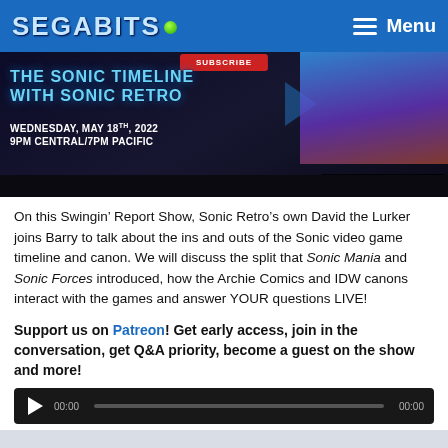SEGABITS Menu
[Figure (screenshot): Dark banner showing 'THE SONIC TIMELINE WITH SONIC RETRO' event, Wednesday May 18th 2022, 9PM Central/7PM Pacific, with 'DAVID THE LURKER SPEAKS!' overlay label]
On this Swingin’ Report Show, Sonic Retro’s own David the Lurker joins Barry to talk about the ins and outs of the Sonic video game timeline and canon. We will discuss the split that Sonic Mania and Sonic Forces introduced, how the Archie Comics and IDW canons interact with the games and answer YOUR questions LIVE!
Support us on Patreon! Get early access, join in the conversation, get Q&A priority, become a guest on the show and more!
[Figure (screenshot): Audio player bar with play button, 00:00 start time, progress bar, and 00:00 end time on dark background]